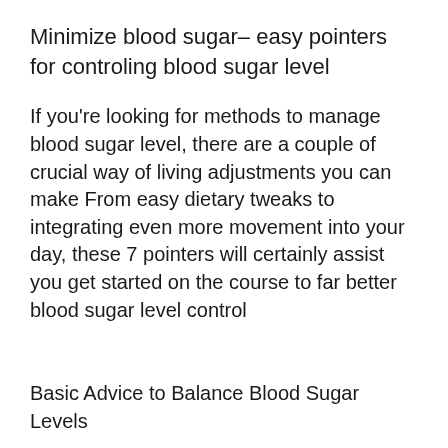Minimize blood sugar– easy pointers for controling blood sugar level
If you're looking for methods to manage blood sugar level, there are a couple of crucial way of living adjustments you can make From easy dietary tweaks to integrating even more movement into your day, these 7 pointers will certainly assist you get started on the course to far better blood sugar level control
Basic Advice to Balance Blood Sugar Levels
If you are one of the countless individuals